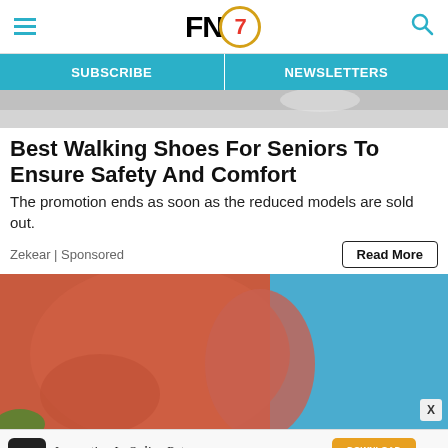FN7 — SUBSCRIBE | NEWSLETTERS
[Figure (photo): Partial top image of shoes/floor, cropped at top of page]
Best Walking Shoes For Seniors To Ensure Safety And Comfort
The promotion ends as soon as the reduced models are sold out.
Zekear | Sponsored
[Figure (photo): Person wearing a red/coral long-sleeve shirt against a blue background, lower body visible]
Innovation In Online Returns DOWNLOAD THE REPORT